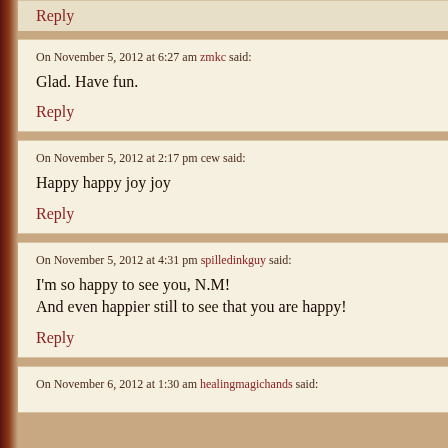Reply
On November 5, 2012 at 6:27 am zmkc said:
Glad. Have fun.
Reply
On November 5, 2012 at 2:17 pm cew said:
Happy happy joy joy
Reply
On November 5, 2012 at 4:31 pm spilledinkguy said:
I'm so happy to see you, N.M!
And even happier still to see that you are happy!
Reply
On November 6, 2012 at 1:30 am healingmagichands said: